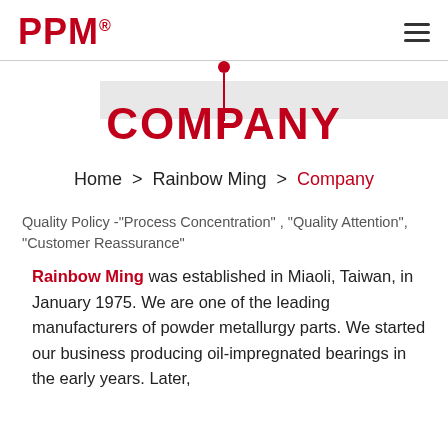PPM®
[Figure (other): Red pin/location marker with dot and vertical line above a gray banner bar, with the word COMPANY below in large red bold text]
COMPANY
Home > Rainbow Ming > Company
Quality Policy -"Process Concentration" , "Quality Attention", "Customer Reassurance"
Rainbow Ming was established in Miaoli, Taiwan, in January 1975. We are one of the leading manufacturers of powder metallurgy parts. We started our business producing oil-impregnated bearings in the early years. Later,